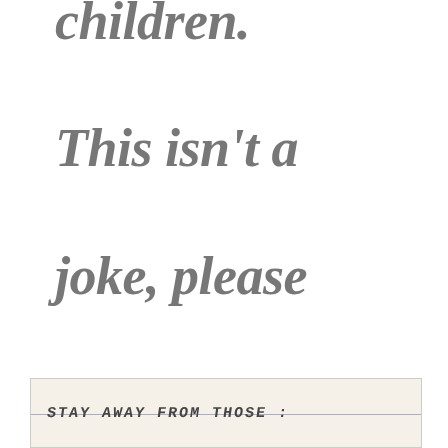children. This isn't a joke, please take it serious."
[Figure (photo): Handwritten note on lined paper reading 'STAY AWAY FROM THOSE:']